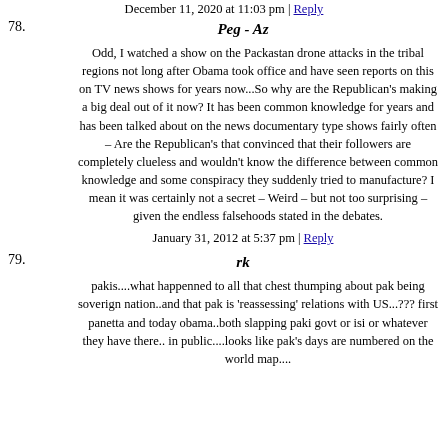December 11, 2020 at 11:03 pm | Reply
78. Peg - Az
Odd, I watched a show on the Packastan drone attacks in the tribal regions not long after Obama took office and have seen reports on this on TV news shows for years now...So why are the Republican's making a big deal out of it now? It has been common knowledge for years and has been talked about on the news documentary type shows fairly often – Are the Republican's that convinced that their followers are completely clueless and wouldn't know the difference between common knowledge and some conspiracy they suddenly tried to manufacture? I mean it was certainly not a secret – Weird – but not too surprising – given the endless falsehoods stated in the debates.
January 31, 2012 at 5:37 pm | Reply
79. rk
pakis....what happenned to all that chest thumping about pak being soverign nation..and that pak is 'reassessing' relations with US...??? first panetta and today obama..both slapping paki govt or isi or whatever they have there.. in public....looks like pak's days are numbered on the world map....